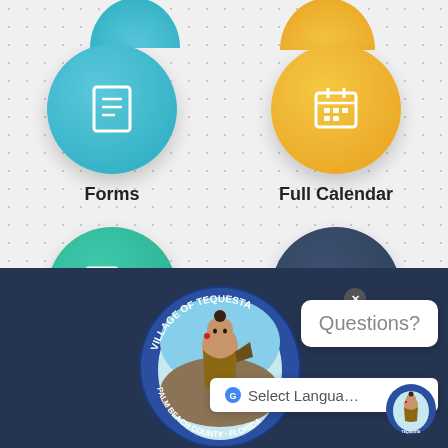[Figure (screenshot): Navigation menu with circular icon buttons: Forms (blue), Full Calendar (orange), Record Request (teal), Document Center (navy)]
Forms
Full Calendar
Record Request
Document Center
[Figure (logo): Village of Tequesta, Florida official seal with Native American figure]
Questions?
Select Language